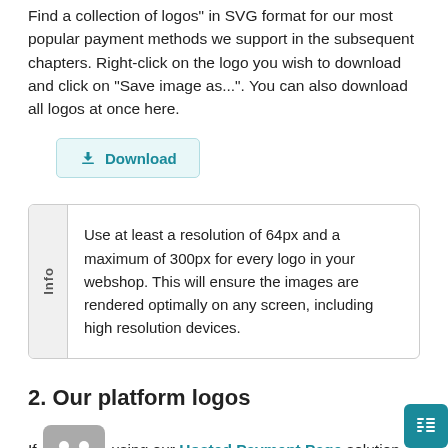Find a collection of logos" in SVG format for our most popular payment methods we support in the subsequent chapters. Right-click on the logo you wish to download and click on "Save image as...". You can also download all logos at once here.
[Figure (other): Download button with teal background and download icon]
Use at least a resolution of 64px and a maximum of 300px for every logo in your webshop. This will ensure the images are rendered optimally on any screen, including high resolution devices.
2. Our platform logos
If using our Hosted Payment Page solution, your customers will process their payment in our secure environment. Use this logo to announce this step during your customers'